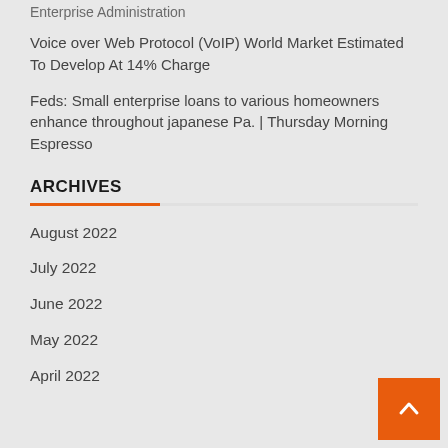Enterprise Administration
Voice over Web Protocol (VoIP) World Market Estimated To Develop At 14% Charge
Feds: Small enterprise loans to various homeowners enhance throughout japanese Pa. | Thursday Morning Espresso
ARCHIVES
August 2022
July 2022
June 2022
May 2022
April 2022